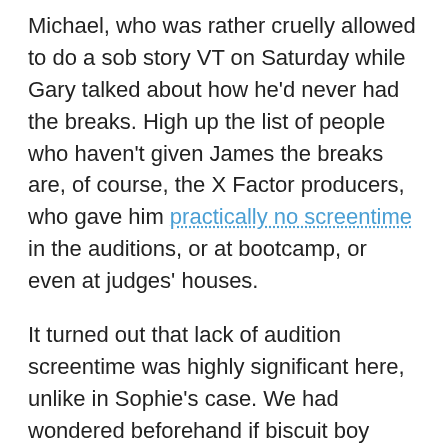Michael, who was rather cruelly allowed to do a sob story VT on Saturday while Gary talked about how he'd never had the breaks. High up the list of people who haven't given James the breaks are, of course, the X Factor producers, who gave him practically no screentime in the auditions, or at bootcamp, or even at judges' houses.
It turned out that lack of audition screentime was highly significant here, unlike in Sophie's case. We had wondered beforehand if biscuit boy Craig Colton might come to James's rescue, but he turned out to be a tougher cookie than we had anticipated with a surprisingly strong rendition of 'Jar of Hearts'. After that, it never looked likely that poor James's 'Ticket to Ride' was going to be anything other than a return journey to Widnes.
At least our pre-lives selection to win the whole show, Marcus Collins, made it through after a thoroughly solid if